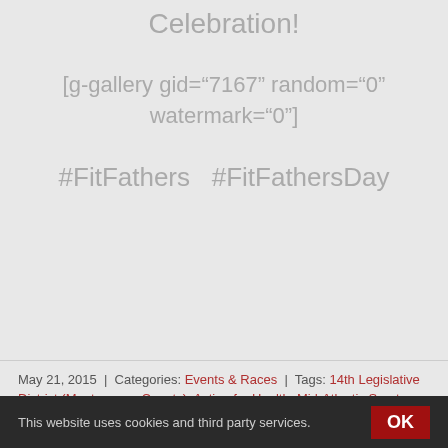Celebration!
[g-gallery gid="7167" random="0" watermark="0"]
#FitFathers  #FitFathersDay
May 21, 2015  |  Categories: Events & Races  |  Tags: 14th Legislative District (Montgomery County), Action for Health, Mid-Atlantic Sports Pride Association, Phot...
This website uses cookies and third party services.